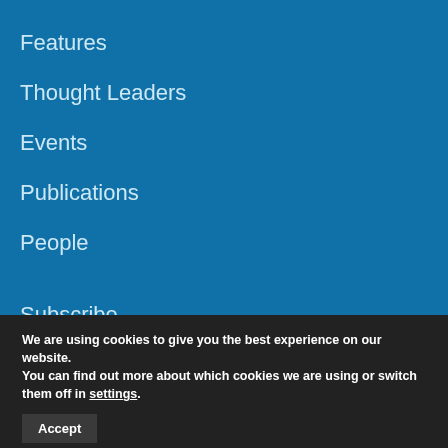Features
Thought Leaders
Events
Publications
People
Subscribe
Contact us
We are using cookies to give you the best experience on our website.
You can find out more about which cookies we are using or switch them off in settings.
Accept